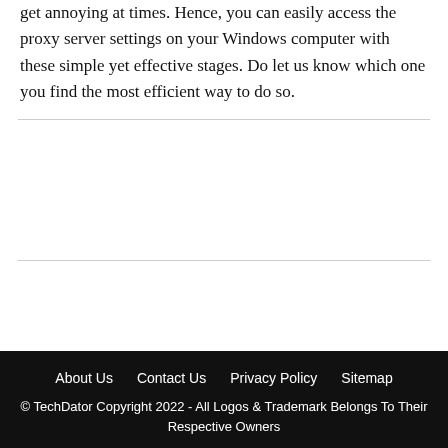get annoying at times. Hence, you can easily access the proxy server settings on your Windows computer with these simple yet effective stages. Do let us know which one you find the most efficient way to do so.
About Us   Contact Us   Privacy Policy   Sitemap
© TechDator Copyright 2022 - All Logos & Trademark Belongs To Their Respective Owners